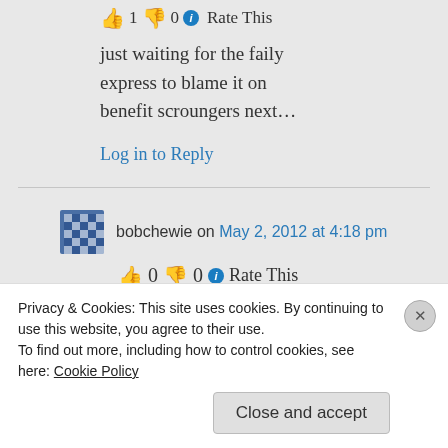👍 1 👎 0 ℹ Rate This
just waiting for the faily express to blame it on benefit scroungers next…
Log in to Reply
bobchewie on May 2, 2012 at 4:18 pm
👍 0 👎 0 ℹ Rate This
Privacy & Cookies: This site uses cookies. By continuing to use this website, you agree to their use.
To find out more, including how to control cookies, see here: Cookie Policy
Close and accept